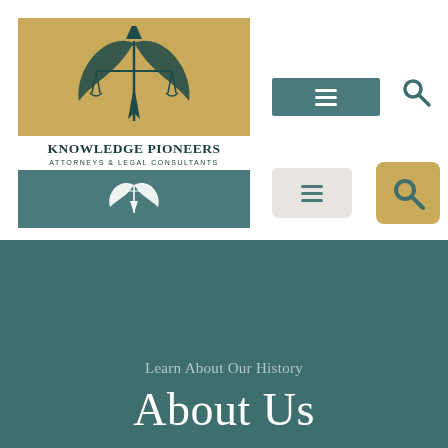[Figure (logo): Knowledge Pioneers Attorneys & Legal Consultants logo — gold background with teal scales of justice emblem, white firm name on white band, teal footer with white winged emblem]
[Figure (other): Navigation bar with hamburger menu button on teal background and search icon]
[Figure (other): Secondary hamburger menu button and gold search button]
Learn About Our History
About Us